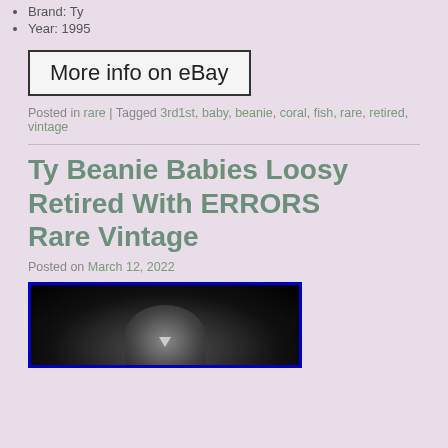Brand: Ty
Year: 1995
More info on eBay
Posted in rare | Tagged 3rd1st, baby, beanie, coral, fish, rare, retired, vintage
Ty Beanie Babies Loosy Retired With ERRORS Rare Vintage
Posted on March 12, 2022
[Figure (photo): Black and white photo of a beanie baby toy (Loosy the goose) against a dark background]